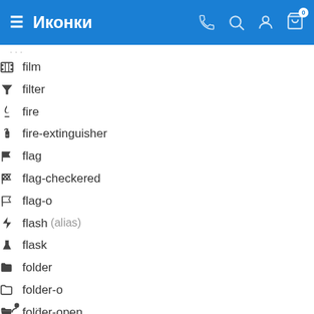Иконки
film
filter
fire
fire-extinguisher
flag
flag-checkered
flag-o
flash (alias)
flask
folder
folder-o
folder-open
folder-open-o
frown-o
futbol-o
gamepad
gavel